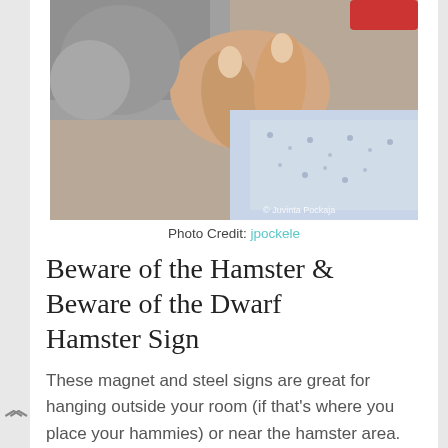[Figure (photo): Close-up photo of human fingers touching a hamster against a patterned blue and white fabric background. Watermark reads '© Juvinta Pockaja'.]
Photo Credit: jpockele
Beware of the Hamster & Beware of the Dwarf Hamster Sign
These magnet and steel signs are great for hanging outside your room (if that's where you place your hammies) or near the hamster area. Both measure 8.2 * 5.8 inches. I personally prefer the dwarf hamster one: